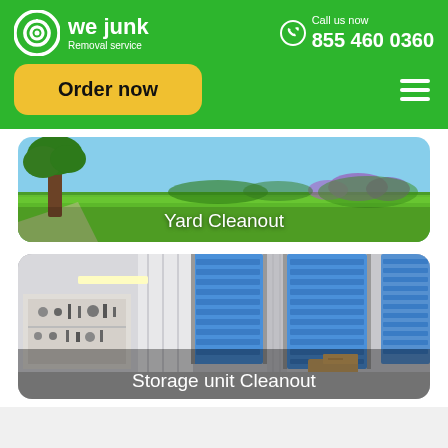we junk Removal service | Call us now 855 460 0360
Order now
[Figure (photo): Green lawn yard with trees and flowers in the background, labeled Yard Cleanout]
Yard Cleanout
[Figure (photo): Interior of a storage facility showing blue roll-up doors and a garage with tools on the wall, labeled Storage unit Cleanout]
Storage unit Cleanout